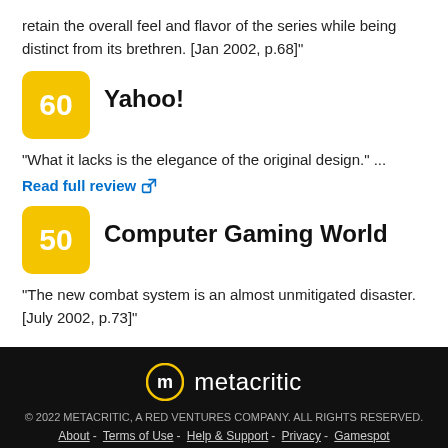retain the overall feel and flavor of the series while being distinct from its brethren. [Jan 2002, p.68]"
60  Yahoo!
"What it lacks is the elegance of the original design." ...
Read full review
50  Computer Gaming World
"The new combat system is an almost unmitigated disaster. [July 2002, p.73]"
metacritic
© 2022 METACRITIC, A RED VENTURES COMPANY. ALL RIGHTS RESERVED.
About - Terms of Use - Help & Support - Privacy - Gamespot
Do Not Sell My Information
See Full Site